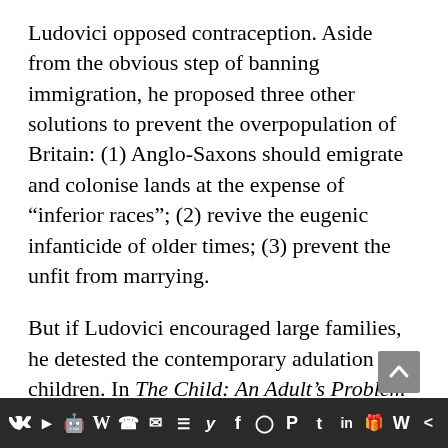Ludovici opposed contraception. Aside from the obvious step of banning immigration, he proposed three other solutions to prevent the overpopulation of Britain: (1) Anglo-Saxons should emigrate and colonise lands at the expense of “inferior races”; (2) revive the eugenic infanticide of older times; (3) prevent the unfit from marrying.
But if Ludovici encouraged large families, he detested the contemporary adulation of children. In The Child: An Adult’s Problem (London, 1948) he explained why. For men, fathering children testifies to their virility. For women, coddling children serves as an outlet for their
social media icon bar